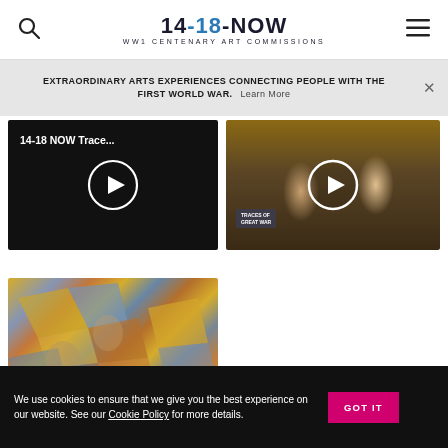14-18-NOW WW1 CENTENARY ART COMMISSIONS
EXTRAORDINARY ARTS EXPERIENCES CONNECTING PEOPLE WITH THE FIRST WORLD WAR. Learn More
[Figure (screenshot): Black video thumbnail with text '14-18 NOW Trace...' and white play button circle]
[Figure (photo): Two men smiling at camera with a white play button overlay, one holding a 'Traces of the Great War' sign]
[Figure (photo): Cubist-style painting with abstract figures in yellow, blue, and brown tones]
We use cookies to ensure that we give you the best experience on our website. See our Cookie Policy for more details.